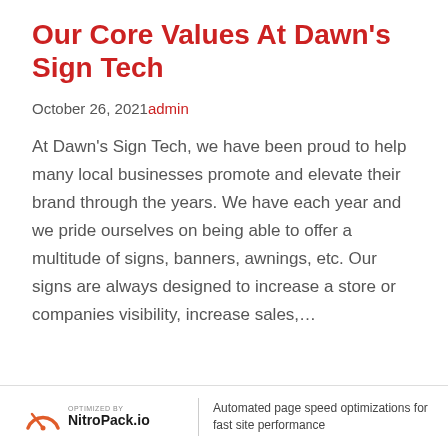Our Core Values At Dawn's Sign Tech
October 26, 2021admin
At Dawn's Sign Tech, we have been proud to help many local businesses promote and elevate their brand through the years. We have each year and we pride ourselves on being able to offer a multitude of signs, banners, awnings, etc. Our signs are always designed to increase a store or companies visibility, increase sales,...
OPTIMIZED BY NitroPack.io | Automated page speed optimizations for fast site performance